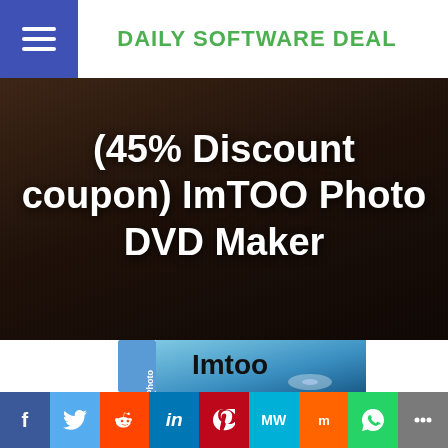DAILY SOFTWARE DEAL
(45% Discount coupon) ImTOO Photo DVD Maker
[Figure (photo): ImToo Photo DVD Maker software product box with blue gradient design, showing 'Imtoo' branding on the box cover]
f | Twitter | Reddit | in | Pinterest | MW | Mix | WhatsApp | Share